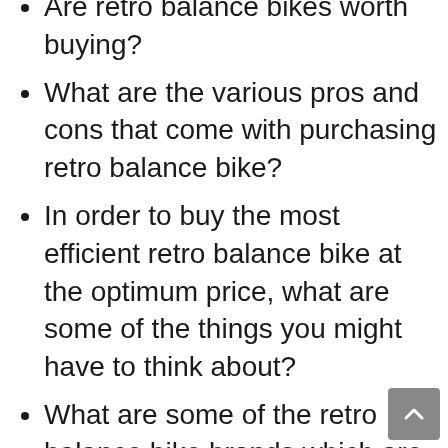Are retro balance bikes worth buying?
What are the various pros and cons that come with purchasing retro balance bike?
In order to buy the most efficient retro balance bike at the optimum price, what are some of the things you might have to think about?
What are some of the retro balance bike brands which are available in today's market? What is coming in the future?
Is enough information on what you want accessible?
Why should I own a or many retro balance bikes, even if the quality might not be sharpest?